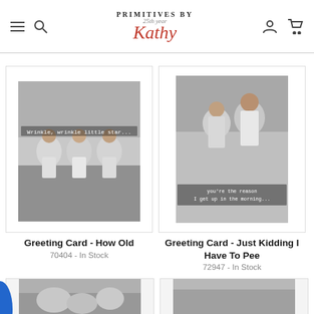Primitives By Kathy – 25th year
[Figure (photo): Black and white photo of three elderly women sitting in chairs outdoors, text overlay reads 'Wrinkle, wrinkle little star...']
Greeting Card - How Old
70404 - In Stock
[Figure (photo): Black and white photo of a man and woman looking at each other, text overlay reads 'you're the reason I get up in the morning...']
Greeting Card - Just Kidding I Have To Pee
72947 - In Stock
[Figure (photo): Partial view of a third greeting card product, bottom of page]
[Figure (photo): Partial view of a fourth greeting card product, bottom of page]